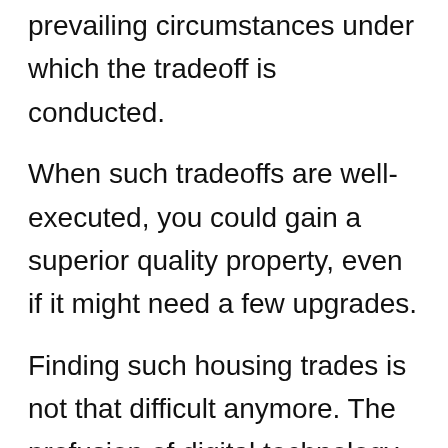prevailing circumstances under which the tradeoff is conducted.
When such tradeoffs are well-executed, you could gain a superior quality property, even if it might need a few upgrades.
Finding such housing trades is not that difficult anymore. The profusion of digital technology in the real estate market has led to the emergence of dedicated platforms where houses can be traded. Online marketplaces like homeexchange.com and goswap.org are famed for matching sellers for house trading deals.